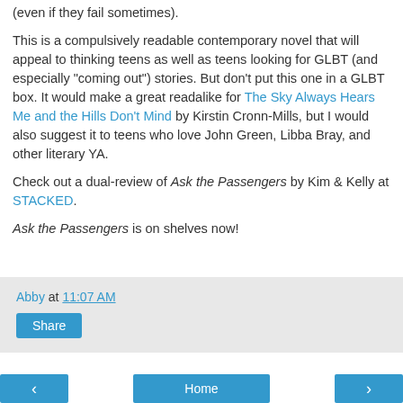(even if they fail sometimes).
This is a compulsively readable contemporary novel that will appeal to thinking teens as well as teens looking for GLBT (and especially "coming out") stories. But don't put this one in a GLBT box. It would make a great readalike for The Sky Always Hears Me and the Hills Don't Mind by Kirstin Cronn-Mills, but I would also suggest it to teens who love John Green, Libba Bray, and other literary YA.
Check out a dual-review of Ask the Passengers by Kim & Kelly at STACKED.
Ask the Passengers is on shelves now!
Abby at 11:07 AM
Share
Home